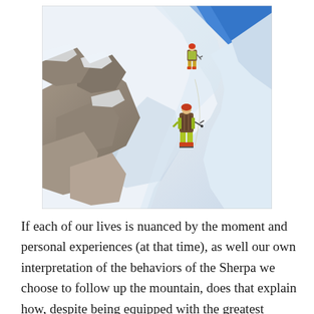[Figure (photo): Two mountain climbers in yellow/green gear ascending a steep snow and rock face, with a bright blue sky in the upper right. The climbers carry heavy backpacks and use ice axes. The mountain is covered in snow with exposed rock formations visible on the left.]
If each of our lives is nuanced by the moment and personal experiences (at that time), as well our own interpretation of the behaviors of the Sherpa we choose to follow up the mountain, does that explain how, despite being equipped with the greatest potential, all too often many